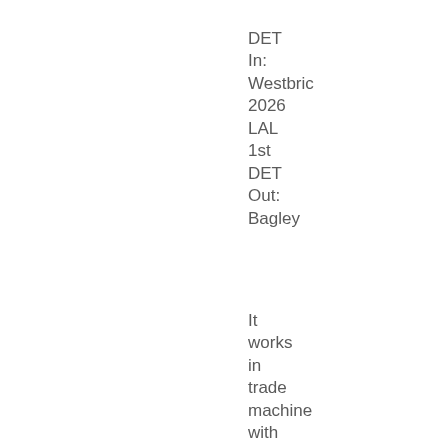DET
In:
Westbric
2026
LAL
1st
DET
Out:
Bagley
It
works
in
trade
machine
with
the
only
unknown
being
what